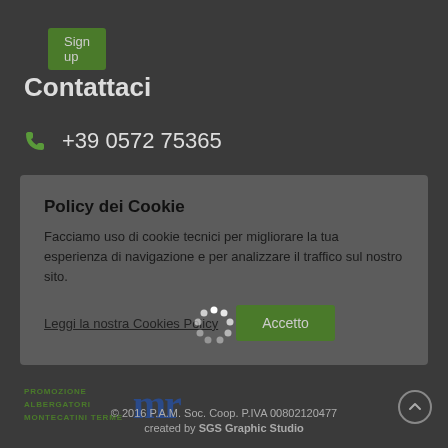[Figure (other): Sign up button — green rounded rectangle with text 'Sign up']
Contattaci
📞 +39 0572 75365
Policy dei Cookie
Facciamo uso di cookie tecnici per migliorare la tua esperienza di navigazione e per analizzare il traffico sul nostro sito.
Leggi la nostra Cookies Policy   Accetto
[Figure (logo): PROMOZIONE ALBERGATORI MONTECATINI TERME logo with stylized M mark in blue/green]
© 2016 P.A.M. Soc. Coop. P.IVA 00802120477
created by SGS Graphic Studio